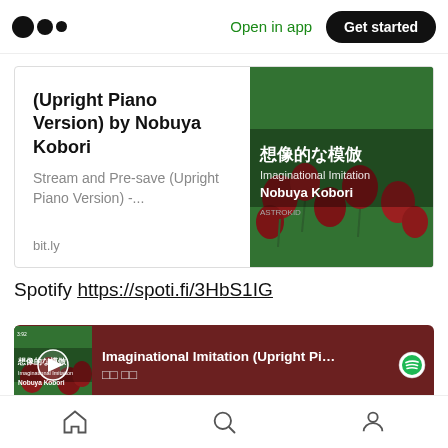[Figure (screenshot): Medium website top navigation bar with logo dots, 'Open in app' link and 'Get started' button]
[Figure (screenshot): Link preview card showing '(Upright Piano Version) by Nobuya Kobori' with album art showing Japanese text '想像的な模倣', 'Imaginational Imitation', 'Nobuya Kobori']
Spotify https://spoti.fi/3HbS1IG
[Figure (screenshot): Spotify embedded player showing 'Imaginational Imitation (Upright Piano ...' with Japanese subtitle and share icon, progress bar at bottom]
[Figure (screenshot): Bottom navigation bar with home, search, and profile icons]